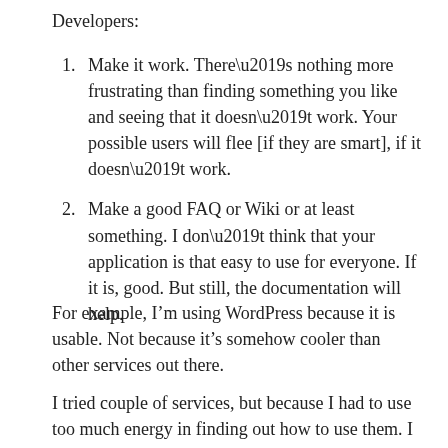Developers:
Make it work. There’s nothing more frustrating than finding something you like and seeing that it doesn’t work. Your possible users will flee [if they are smart], if it doesn’t work.
Make a good FAQ or Wiki or at least something. I don’t think that your application is that easy to use for everyone. If it is, good. But still, the documentation will help.
For example, I’m using WordPress because it is usable. Not because it’s somehow cooler than other services out there.
I tried couple of services, but because I had to use too much energy in finding out how to use them. I carried on